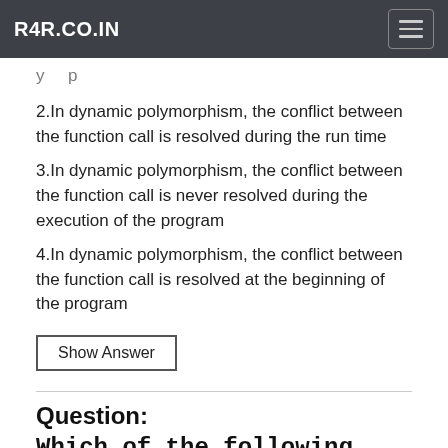R4R.CO.IN
2.In dynamic polymorphism, the conflict between the function call is resolved during the run time
3.In dynamic polymorphism, the conflict between the function call is never resolved during the execution of the program
4.In dynamic polymorphism, the conflict between the function call is resolved at the beginning of the program
Show Answer
Question:
Which of the following